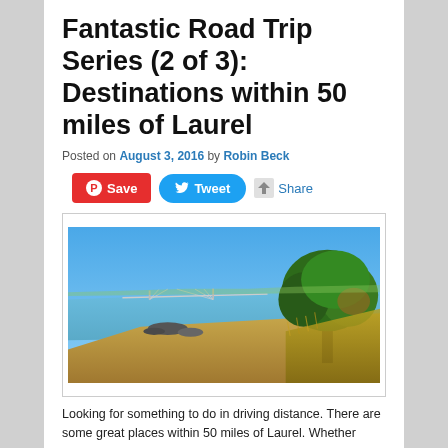Fantastic Road Trip Series (2 of 3): Destinations within 50 miles of Laurel
Posted on August 3, 2016 by Robin Beck
[Figure (photo): Beach scene with sandy shore, calm water, a large bridge in the background, and a large green tree on the right side with golden grassy vegetation]
Looking for something to do in driving distance. There are some great places within 50 miles of Laurel. Whether you...